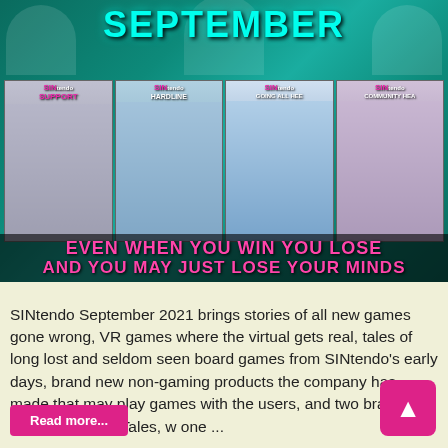[Figure (illustration): Promotional banner for SINtendo September 2021 anthology. Features a teal/green background with stylized text 'SEPTEMBER' at top, four book covers in the middle row labeled with SINtendo branding (Support, Hardline, Going All Hee, Community Hea), and bold pink text at bottom reading 'EVEN WHEN YOU WIN YOU LOSE AND YOU MAY JUST LOSE YOUR MINDS'.]
SINtendo September 2021 brings stories of all new games gone wrong, VR games where the virtual gets real, tales of long lost and seldom seen board games from SINtendo's early days, brand new non-gaming products the company has made that may play games with the users, and two brand new Alternate World Tales, w one ...